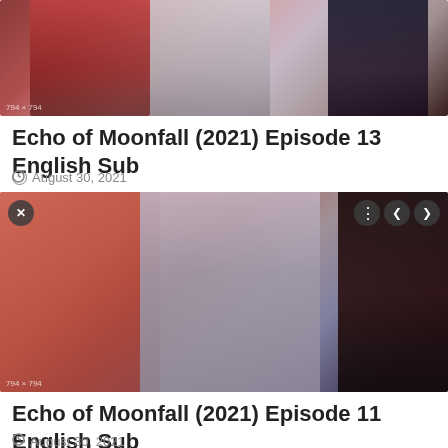[Figure (photo): Promotional image for Echo of Moonfall drama showing characters in traditional Chinese fantasy costumes, partially cropped at top]
Echo of Moonfall (2021) Episode 13 English Sub
August 30, 2021
[Figure (photo): Promotional image for Echo of Moonfall showing three characters in fantasy costumes: a woman in red on left, a warrior in center, and a dark-robed figure on right. Has X button top-left and navigation buttons top-right.]
Echo of Moonfall (2021) Episode 11 English Sub
August 30, 2021
[Figure (photo): Partial promotional image for Echo of Moonfall, showing bottom portion with X button top-left and navigation buttons top-right]